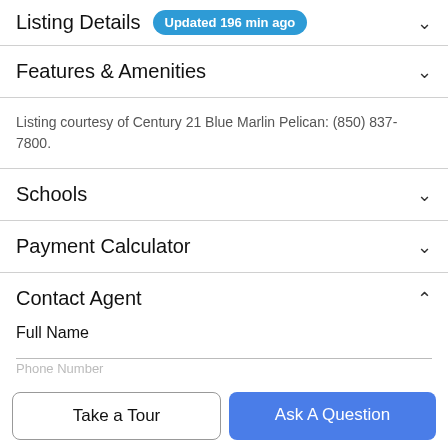Listing Details Updated 196 min ago
Features & Amenities
Listing courtesy of Century 21 Blue Marlin Pelican: (850) 837-7800.
Schools
Payment Calculator
Contact Agent
Full Name
Phone Number
Take a Tour
Ask A Question